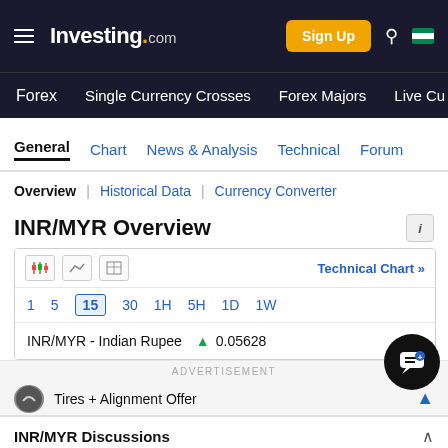Investing.com — Sign Up | Forex | Single Currency Crosses | Forex Majors | Live Cu
General | Chart | News & Analysis | Technical | Forum
Overview | Historical Data | Currency Converter
INR/MYR Overview
Technical Chart » | 1 | 5 | 15 | 30 | 1H | 5H | 1D | 1W
INR/MYR - Indian Rupee ▲ 0.05628
ADVERTISEMENT
Tires + Alignment Offer
INR/MYR Discussions